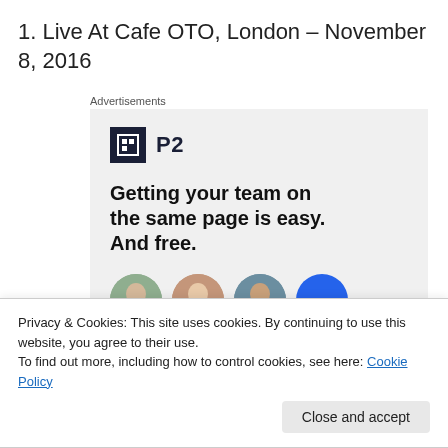1. Live At Cafe OTO, London – November 8, 2016
Advertisements
[Figure (screenshot): Advertisement banner for P2 product showing logo, headline 'Getting your team on the same page is easy. And free.' and circular avatar photos of team members.]
Privacy & Cookies: This site uses cookies. By continuing to use this website, you agree to their use.
To find out more, including how to control cookies, see here: Cookie Policy
Close and accept